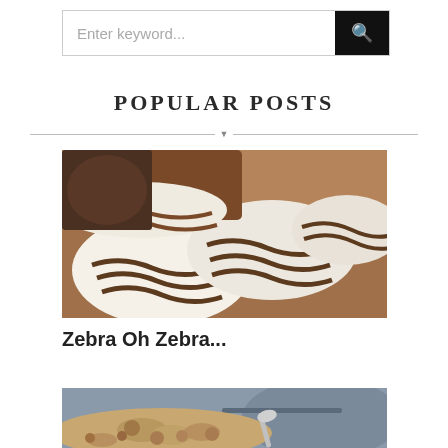[Figure (screenshot): Search bar with placeholder text 'Enter keyword...' and a black search button with magnifying glass icon]
POPULAR POSTS
[Figure (photo): Close-up photo of zebra cake slices showing white cream and brown chocolate swirl pattern on a wooden surface]
Zebra Oh Zebra...
[Figure (photo): Close-up photo of oatmeal or granola dish, blurred background with spoon visible]